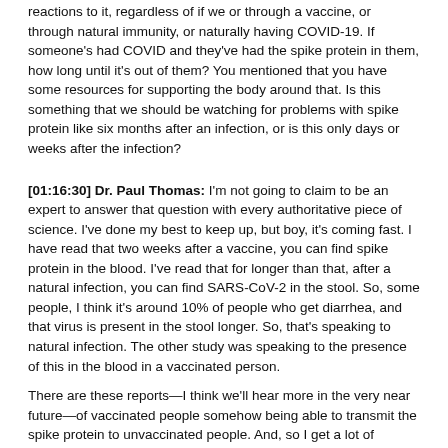reactions to it, regardless of if we or through a vaccine, or through natural immunity, or naturally having COVID-19. If someone's had COVID and they've had the spike protein in them, how long until it's out of them? You mentioned that you have some resources for supporting the body around that. Is this something that we should be watching for problems with spike protein like six months after an infection, or is this only days or weeks after the infection?
[01:16:30] Dr. Paul Thomas: I'm not going to claim to be an expert to answer that question with every authoritative piece of science. I've done my best to keep up, but boy, it's coming fast. I have read that two weeks after a vaccine, you can find spike protein in the blood. I've read that for longer than that, after a natural infection, you can find SARS-CoV-2 in the stool. So, some people, I think it's around 10% of people who get diarrhea, and that virus is present in the stool longer. So, that's speaking to natural infection. The other study was speaking to the presence of this in the blood in a vaccinated person.
There are these reports—I think we'll hear more in the very near future—of vaccinated people somehow being able to transmit the spike protein to unvaccinated people. And, so I get a lot of questions about that. I don't know quite what to tell people because it's just starting to come out. It's something that's just starting to be discovered and researched, but it appears that that can happen. I'm not exactly sure of the mechanism. But it's one of those things where if you've been vaccinated, maybe for a couple of weeks you don't go around your unvaccinated loved ones. Just a thought. I mean, I don't have enough hard science to say that's a firm recommendation. It's just a thought.